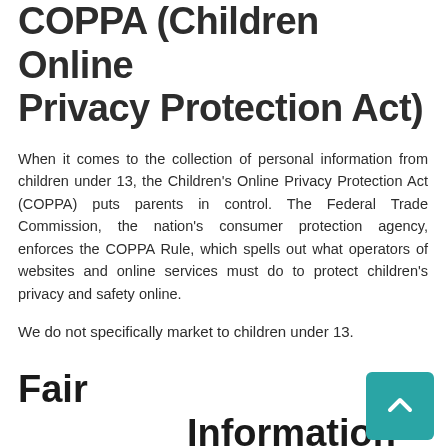COPPA (Children Online Privacy Protection Act)
When it comes to the collection of personal information from children under 13, the Children's Online Privacy Protection Act (COPPA) puts parents in control. The Federal Trade Commission, the nation's consumer protection agency, enforces the COPPA Rule, which spells out what operators of websites and online services must do to protect children's privacy and safety online.
We do not specifically market to children under 13.
Fair Practices   Information